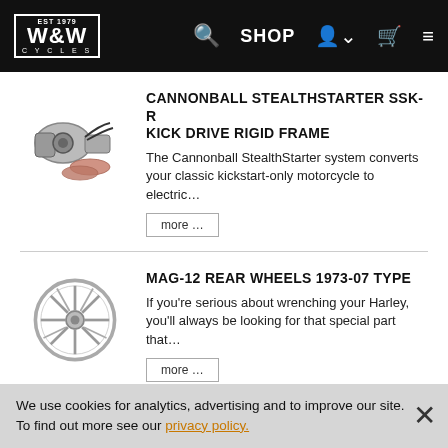W&W Cycles — navigation bar
CANNONBALL STEALTHSTARTER SSK-R KICK DRIVE RIGID FRAME
The Cannonball StealthStarter system converts your classic kickstart-only motorcycle to electric…
MAG-12 REAR WHEELS 1973-07 TYPE
If you're serious about wrenching your Harley, you'll always be looking for that special part that…
MORAD FLANGED ALUMINUM RIMS
When H-D became majority stockholder of Aermacchi in 1960 it not only added European…
We use cookies for analytics, advertising and to improve our site. To find out more see our privacy policy.